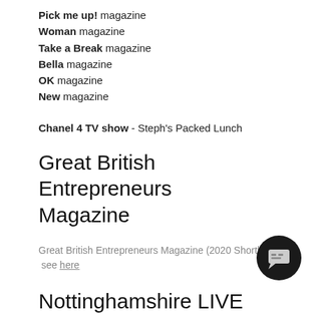Pick me up! magazine
Woman magazine
Take a Break magazine
Bella magazine
OK magazine
New magazine
Chanel 4 TV show - Steph's Packed Lunch
Great British Entrepreneurs Magazine
Great British Entrepreneurs Magazine (2020 Shortlist) see here
Nottinghamshire LIVE